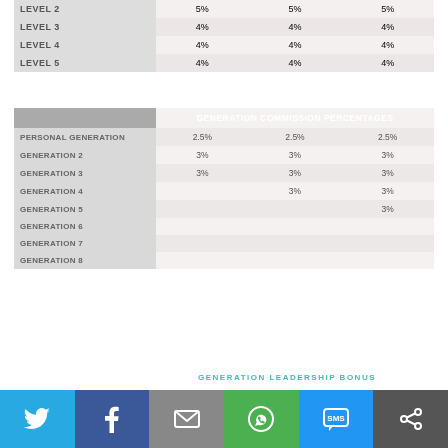|  | Col1 | Col2 | Col3 |
| --- | --- | --- | --- |
| LEVEL 2 | 5% | 5% | 5% |
| LEVEL 3 | 4% | 4% | 4% |
| LEVEL 4 | 4% | 4% | 4% |
| LEVEL 5 | 4% | 4% | 4% |
|  | GENERATION COMMISSION PERCENTAGES |  |  |
| --- | --- | --- | --- |
| PERSONAL GENERATION | 2.5% | 2.5% | 2.5% |
| GENERATION 2 | 3% | 3% | 3% |
| GENERATION 3 | 3% | 3% | 3% |
| GENERATION 4 |  | 3% | 3% |
| GENERATION 5 |  |  | 3% |
| GENERATION 6 |  |  |  |
| GENERATION 7 |  |  |  |
| GENERATION 8 |  |  |  |
[Figure (donut-chart): Partial donut chart showing Crown Diamond (5 Shares, blue/teal) and Royal Crown Diamond (6 Shares, purple) segments]
GENERATION LEADERSHIP BONUS